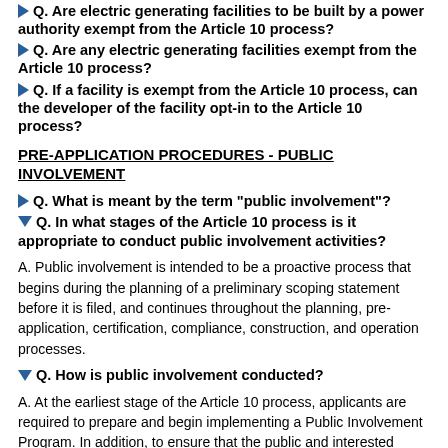Q. Are electric generating facilities to be built by a power authority exempt from the Article 10 process?
Q. Are any electric generating facilities exempt from the Article 10 process?
Q. If a facility is exempt from the Article 10 process, can the developer of the facility opt-in to the Article 10 process?
PRE-APPLICATION PROCEDURES - PUBLIC INVOLVEMENT
Q. What is meant by the term "public involvement"?
Q. In what stages of the Article 10 process is it appropriate to conduct public involvement activities?
A. Public involvement is intended to be a proactive process that begins during the planning of a preliminary scoping statement before it is filed, and continues throughout the planning, pre-application, certification, compliance, construction, and operation processes.
Q. How is public involvement conducted?
A. At the earliest stage of the Article 10 process, applicants are required to prepare and begin implementing a Public Involvement Program. In addition, to ensure that the public and interested